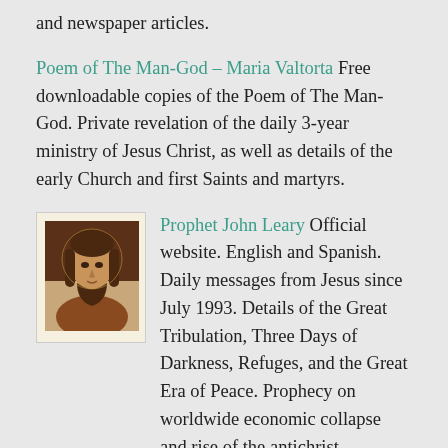and newspaper articles.
Poem of The Man-God – Maria Valtorta Free downloadable copies of the Poem of The Man-God. Private revelation of the daily 3-year ministry of Jesus Christ, as well as details of the early Church and first Saints and martyrs.
[Figure (photo): Thumbnail image of Jesus Christ portrait with sepia/brown tones, set on a cream-colored card background]
Prophet John Leary Official website. English and Spanish. Daily messages from Jesus since July 1993. Details of the Great Tribulation, Three Days of Darkness, Refuges, and the Great Era of Peace. Prophecy on worldwide economic collapse and rise of the antichrist.